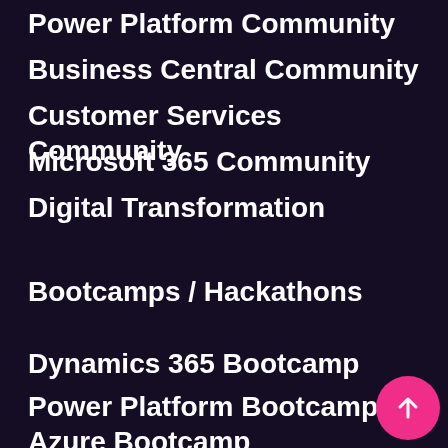Power Platform Community
Business Central Community
Customer Services Community
Microsoft 365 Community
Digital Transformation
Bootcamps / Hackathons
Dynamics 365 Bootcamp
Power Platform Bootcamp
Azure Bootcamp